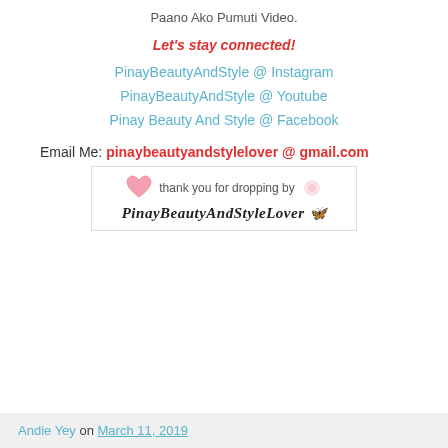Paano Ako Pumuti Video.
Let's stay connected!
PinayBeautyAndStyle @ Instagram
PinayBeautyAndStyle @ Youtube
Pinay Beauty And Style @ Facebook
Email Me: pinaybeautyandstylelover @ gmail.com
[Figure (illustration): Thank you for dropping by badge with heart icon, glitter, and PinayBeautyAndStyleLover text in decorative script with butterfly emoji]
Andie Yey on March 11, 2019